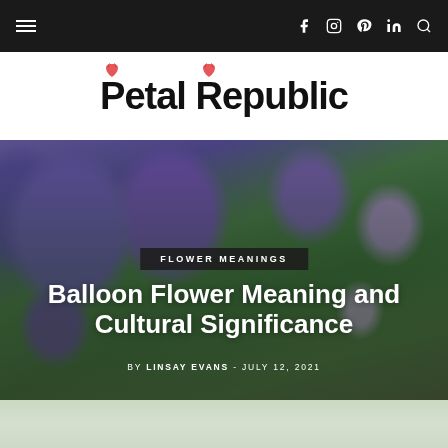Navigation bar with menu icon and social icons: f (Facebook), Instagram, Pinterest, in (LinkedIn), Search
[Figure (logo): Petal Republic logo with tulip flower icons above the letters P and R]
[Figure (photo): Hero photo of vivid purple balloon flowers (Platycodon) with green foliage background]
FLOWER MEANINGS
Balloon Flower Meaning and Cultural Significance
BY LINSAY EVANS  -  JULY 12, 2021
[Figure (photo): Partial bottom strip showing faded flower/foliage image]